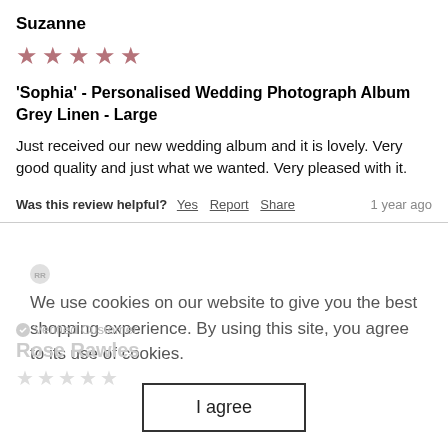Suzanne
[Figure (other): 5 pink/mauve star rating icons]
'Sophia' - Personalised Wedding Photograph Album Grey Linen - Large
Just received our new wedding album and it is lovely. Very good quality and just what we wanted. Very pleased with it.
Was this review helpful? Yes Report Share   1 year ago
We use cookies on our website to give you the best shopping experience. By using this site, you agree to its use of cookies.
I agree
Verified Customer
Rose Rawles